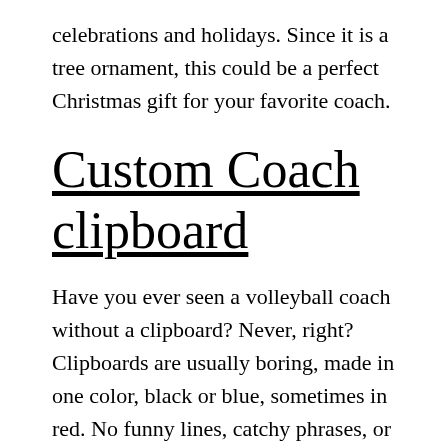celebrations and holidays. Since it is a tree ornament, this could be a perfect Christmas gift for your favorite coach.
Custom Coach clipboard
Have you ever seen a volleyball coach without a clipboard? Never, right? Clipboards are usually boring, made in one color, black or blue, sometimes in red. No funny lines, catchy phrases, or coach name on it. That is why this customized coach clipboard rocks. You can print whatever you want on it, put some nice pictures or the coach's name on it, and it will be a one-of-a-kind...